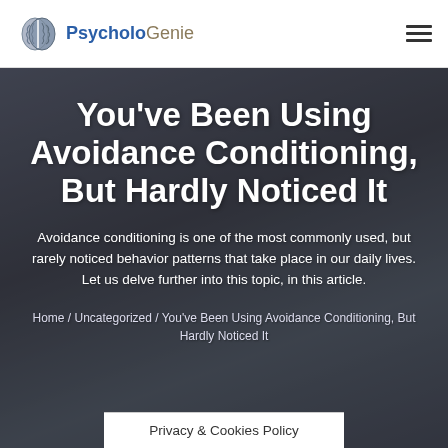PsycholoGenie
You've Been Using Avoidance Conditioning, But Hardly Noticed It
Avoidance conditioning is one of the most commonly used, but rarely noticed behavior patterns that take place in our daily lives. Let us delve further into this topic, in this article.
Home / Uncategorized / You've Been Using Avoidance Conditioning, But Hardly Noticed It
Privacy & Cookies Policy